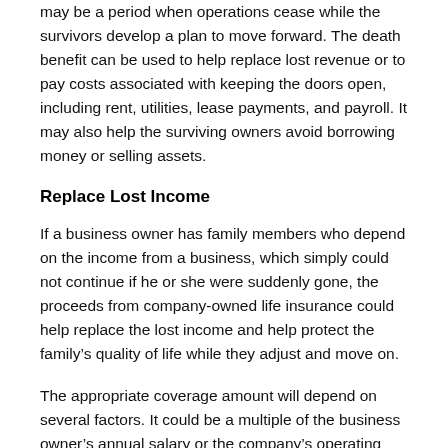may be a period when operations cease while the survivors develop a plan to move forward. The death benefit can be used to help replace lost revenue or to pay costs associated with keeping the doors open, including rent, utilities, lease payments, and payroll. It may also help the surviving owners avoid borrowing money or selling assets.
Replace Lost Income
If a business owner has family members who depend on the income from a business, which simply could not continue if he or she were suddenly gone, the proceeds from company-owned life insurance could help replace the lost income and help protect the family's quality of life while they adjust and move on.
The appropriate coverage amount will depend on several factors. It could be a multiple of the business owner's annual salary or the company's operating budget. Don't forget to factor in such details as the cost of hiring and training a successor, where